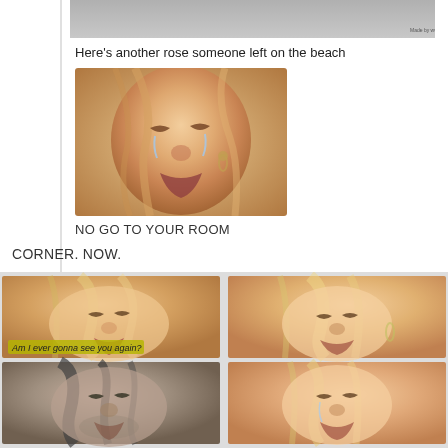[Figure (screenshot): Tumblr post screenshot - partial top image visible with watermark]
Here's another rose someone left on the beach
[Figure (photo): Close-up photo of a woman crying on a beach]
NO GO TO YOUR ROOM
CORNER. NOW.
[Figure (photo): Four-panel grid of crying scenes - two women and a man crying, with subtitle 'Am I ever gonna see you again?']